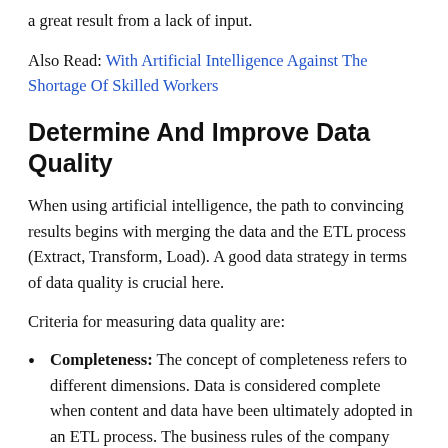a great result from a lack of input.
Also Read: With Artificial Intelligence Against The Shortage Of Skilled Workers
Determine And Improve Data Quality
When using artificial intelligence, the path to convincing results begins with merging the data and the ETL process (Extract, Transform, Load). A good data strategy in terms of data quality is crucial here.
Criteria for measuring data quality are:
Completeness: The concept of completeness refers to different dimensions. Data is considered complete when content and data have been ultimately adopted in an ETL process. The business rules of the company